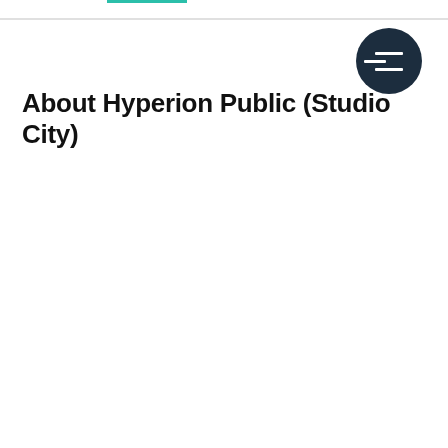About Hyperion Public (Studio City)